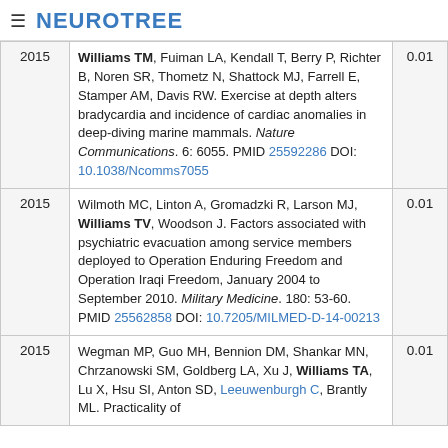NEUROTREE
| Year | Reference | Score |
| --- | --- | --- |
| 2015 | Williams TM, Fuiman LA, Kendall T, Berry P, Richter B, Noren SR, Thometz N, Shattock MJ, Farrell E, Stamper AM, Davis RW. Exercise at depth alters bradycardia and incidence of cardiac anomalies in deep-diving marine mammals. Nature Communications. 6: 6055. PMID 25592286 DOI: 10.1038/Ncomms7055 | 0.01 |
| 2015 | Wilmoth MC, Linton A, Gromadzki R, Larson MJ, Williams TV, Woodson J. Factors associated with psychiatric evacuation among service members deployed to Operation Enduring Freedom and Operation Iraqi Freedom, January 2004 to September 2010. Military Medicine. 180: 53-60. PMID 25562858 DOI: 10.7205/MILMED-D-14-00213 | 0.01 |
| 2015 | Wegman MP, Guo MH, Bennion DM, Shankar MN, Chrzanowski SM, Goldberg LA, Xu J, Williams TA, Lu X, Hsu SI, Anton SD, Leeuwenburgh C, Brantly ML. Practicality of... | 0.01 |